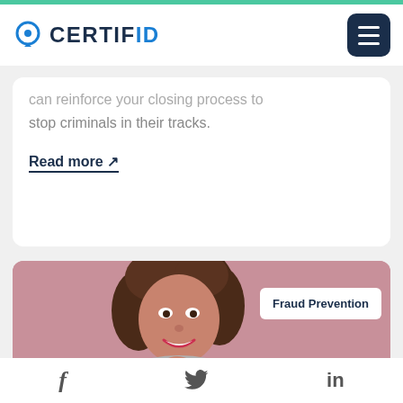[Figure (logo): CertifID logo with shield/lock icon and text CERTIFID in dark blue with ID in lighter blue]
can reinforce your closing process to stop criminals in their tracks.
Read more ↗
[Figure (photo): Professional woman with curly brown hair, wearing a grey blazer, smiling with hand on chin, on a pink/mauve background. White badge with text 'Fraud Prevention' overlaid on the right side.]
f  (Twitter bird icon)  in